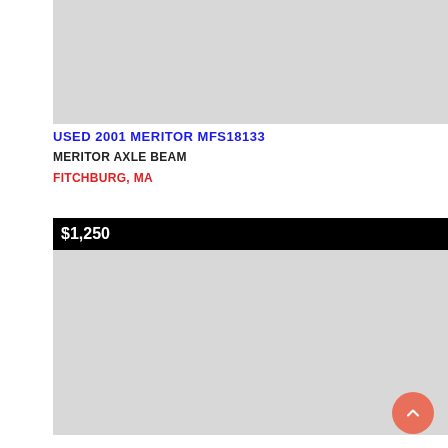[Figure (photo): Gray placeholder image for product listing top photo]
USED 2001 MERITOR MFS18133
MERITOR AXLE BEAM
FITCHBURG, MA
$1,250
[Figure (photo): Gray placeholder image for product listing bottom photo]